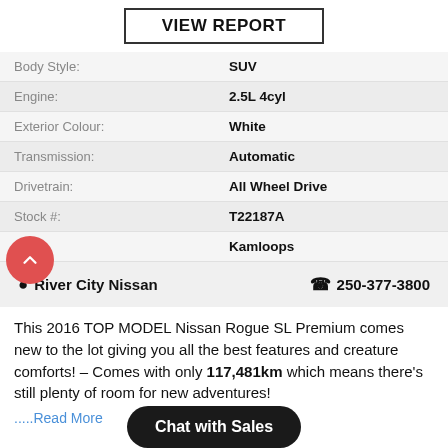VIEW REPORT
| Field | Value |
| --- | --- |
| Body Style: | SUV |
| Engine: | 2.5L 4cyl |
| Exterior Colour: | White |
| Transmission: | Automatic |
| Drivetrain: | All Wheel Drive |
| Stock #: | T22187A |
| City: | Kamloops |
River City Nissan   250-377-3800
This 2016 TOP MODEL Nissan Rogue SL Premium comes new to the lot giving you all the best features and creature comforts! – Comes with only 117,481km which means there's still plenty of room for new adventures!
.....Read More
Chat with Sales